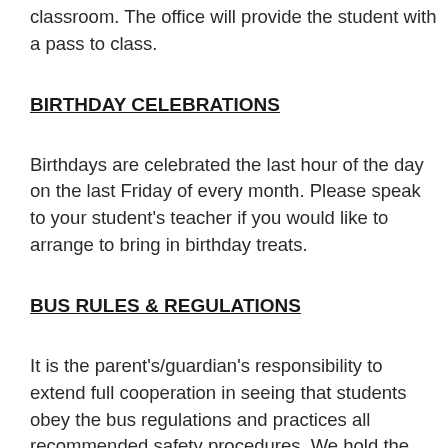classroom. The office will provide the student with a pass to class.
BIRTHDAY CELEBRATIONS
Birthdays are celebrated the last hour of the day on the last Friday of every month. Please speak to your student's teacher if you would like to arrange to bring in birthday treats.
BUS RULES & REGULATIONS
It is the parent's/guardian's responsibility to extend full cooperation in seeing that students obey the bus regulations and practices all recommended safety procedures. We hold the same high expectations for positive behavior on the school bus as we do on campus for all students. At the beginning of the school year, parents and students are responsible for familiarizing